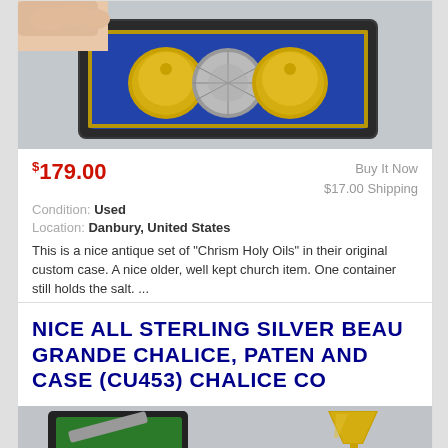[Figure (photo): Photo of antique Chrism Holy Oils set in a blue velvet lined case with gold-colored containers, hand holding case open]
$179.00
Buy It Now
$17.00 Shipping
Condition: Used
Location: Danbury, United States
This is a nice antique set of "Chrism Holy Oils" in their original custom case. A nice older, well kept church item. One container still holds the salt. ...
more
NICE ALL STERLING SILVER BEAU GRANDE CHALICE, PATEN AND CASE (CU453) CHALICE CO
[Figure (photo): Partial photo of a sterling silver chalice and case with green velvet lining]